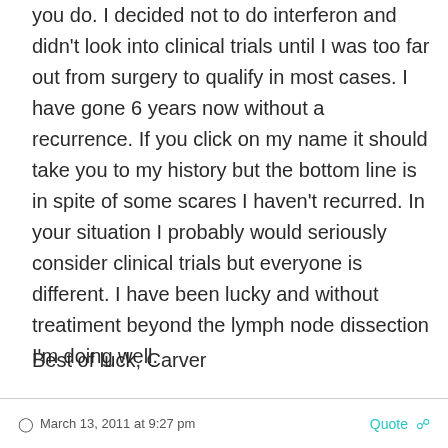you do. I decided not to do interferon and didn't look into clinical trials until I was too far out from surgery to qualify in most cases. I have gone 6 years now without a recurrence. If you click on my name it should take you to my history but the bottom line is in spite of some scares I haven't recurred. In your situation I probably would seriously consider clinical trials but everyone is different. I have been lucky and without treatiment beyond the lymph node dissection I'm doing well.
Best of luck, Carver
March 13, 2011 at 9:27 pm   Quote